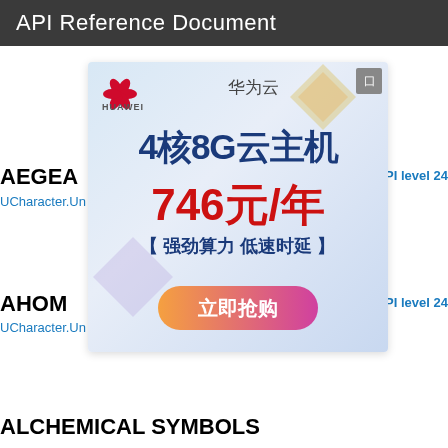API Reference Document
AEGEA
in API level 24
UCharacter.Un
[Figure (illustration): Huawei Cloud advertisement banner in Chinese. Shows Huawei logo, text '华为云', large text '4核8G云主机', price '746元/年', tagline '【强劲算力 低速时延】', and a button '立即抢购'. Light blue gradient background with decorative diamond shapes.]
AHOM
in API level 24
UCharacter.Un
ALCHEMICAL SYMBOLS